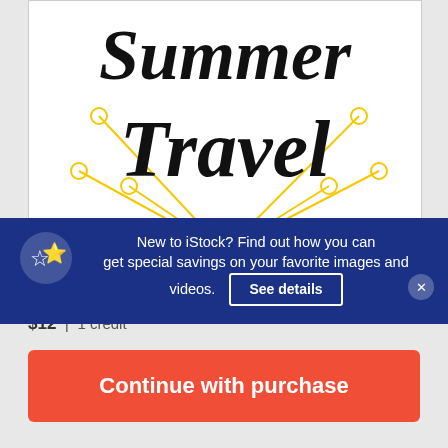[Figure (illustration): Summer Travel decorative lettering illustration with black cursive text 'Summer Travel' and golden radiating lines with circle endpoints on white background]
New to iStock? Find out how you can get special savings on your favorite images and videos.
See details
$12 | 1 credit
Continue with purchase